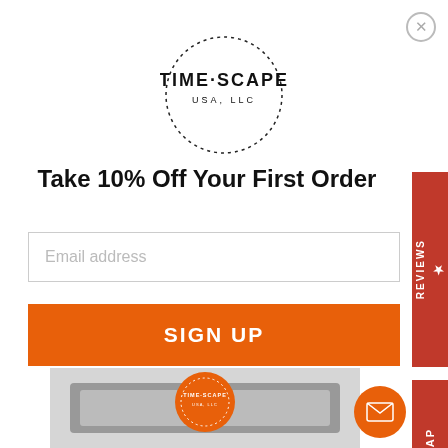[Figure (logo): Timescape USA LLC circular logo with dotted border]
Take 10% Off Your First Order
Email address
SIGN UP
Buben & Zorweg - Neo 8 | Blue Spiked Leather
$ 9,850.00
[Figure (photo): Buben & Zorweg Neo 8 Blue Spiked Leather watch winder product image]